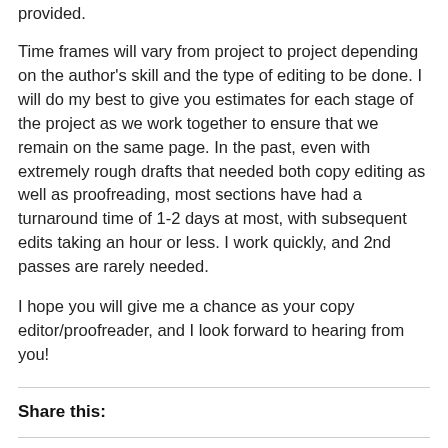provided.
Time frames will vary from project to project depending on the author’s skill and the type of editing to be done. I will do my best to give you estimates for each stage of the project as we work together to ensure that we remain on the same page. In the past, even with extremely rough drafts that needed both copy editing as well as proofreading, most sections have had a turnaround time of 1-2 days at most, with subsequent edits taking an hour or less. I work quickly, and 2nd passes are rarely needed.
I hope you will give me a chance as your copy editor/proofreader, and I look forward to hearing from you!
Share this: